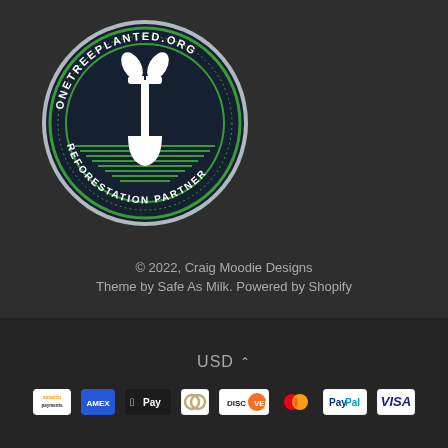[Figure (logo): OneTreePlanted.org Reforestation Partner circular badge logo with tree/shovel icon on dark navy background with green accents]
© 2022, Craig Moodie Designs
Theme by Safe As Milk. Powered by Shopify
USD ^
[Figure (logo): Payment method icons: Amazon Payments, American Express, Apple Pay, Diners Club, Discover, Mastercard, PayPal, Visa]